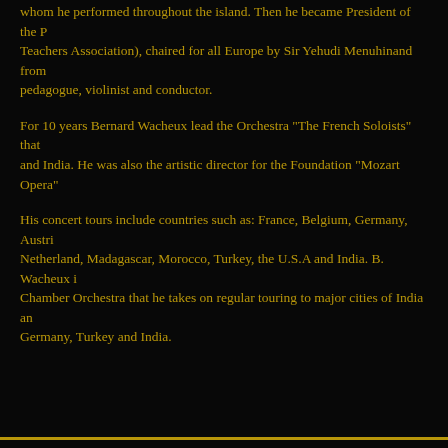whom he performed throughout the island. Then he became President of the P Teachers Association), chaired for all Europe by Sir Yehudi Menuhinand from pedagogue, violinist and conductor.
For 10 years Bernard Wacheux lead the Orchestra "The French Soloists" that and India. He was also the artistic director for the Foundation "Mozart Opera"
His concert tours include countries such as: France, Belgium, Germany, Austri Netherland, Madagascar, Morocco, Turkey, the U.S.A and India. B. Wacheux i Chamber Orchestra that he takes on regular touring to major cities of India an Germany, Turkey and India.